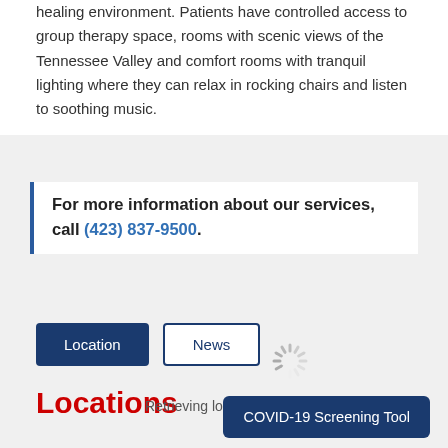healing environment. Patients have controlled access to group therapy space, rooms with scenic views of the Tennessee Valley and comfort rooms with tranquil lighting where they can relax in rocking chairs and listen to soothing music.
For more information about our services, call (423) 837-9500.
Location
News
Locations
Retrieving location data...
COVID-19 Screening Tool